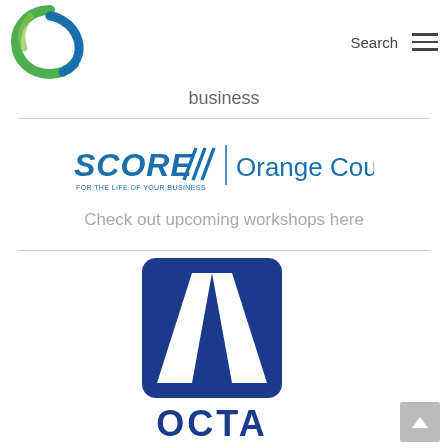[Figure (logo): Globe with stylized G letter logo, green and blue colors, website logo]
Search
business
[Figure (logo): SCORE Orange County logo — SCORE in bold blue italic with diagonal bar lines, vertical divider, then 'Orange County' in blue]
Check out upcoming workshops here
[Figure (logo): OCTA logo — blue square with white road/highway perspective lines forming a triangle, 'OCTA' in bold blue text below]